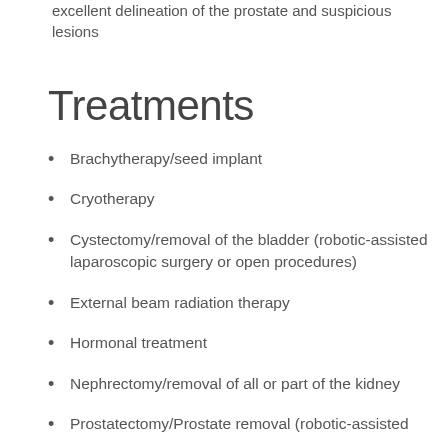excellent delineation of the prostate and suspicious lesions
Treatments
Brachytherapy/seed implant
Cryotherapy
Cystectomy/removal of the bladder (robotic-assisted laparoscopic surgery or open procedures)
External beam radiation therapy
Hormonal treatment
Nephrectomy/removal of all or part of the kidney
Prostatectomy/Prostate removal (robotic-assisted